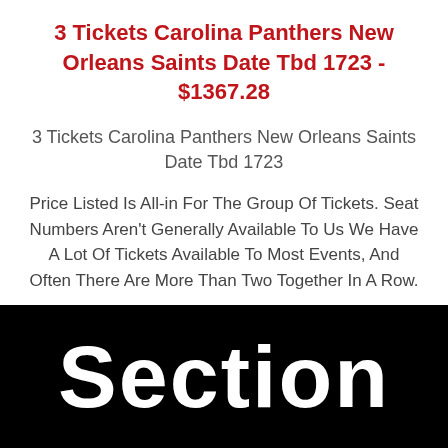3 Tickets Carolina Panthers New Orleans Saints Date Tbd 1723 - $1367.28
3 Tickets Carolina Panthers New Orleans Saints Date Tbd 1723
Price Listed Is All-in For The Group Of Tickets. Seat Numbers Aren't Generally Available To Us We Have A Lot Of Tickets Available To Most Events, And Often There Are More Than Two Together In A Row.
[Figure (other): Black background with large white bold text reading 'Section']